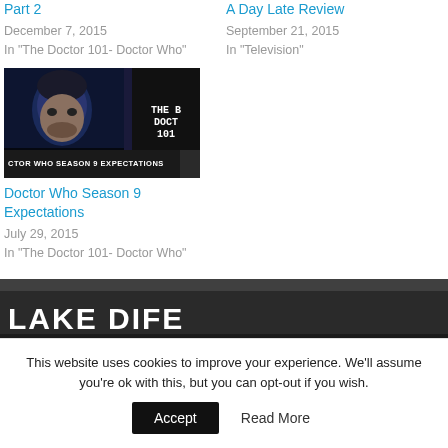Part 2
December 7, 2015
In "The Doctor 101- Doctor Who"
A Day Late Review
September 21, 2015
In "Television"
[Figure (photo): Thumbnail image of Doctor Who Season 9 Expectations with a man's face and text overlay reading THE B DOCT 101 and bottom bar CTOR WHO SEASON 9 EXPECTATIONS]
Doctor Who Season 9 Expectations
July 29, 2015
In "The Doctor 101- Doctor Who"
[Figure (photo): Dark banner image with large white bold text partially visible at bottom]
This website uses cookies to improve your experience. We'll assume you're ok with this, but you can opt-out if you wish.
Accept
Read More